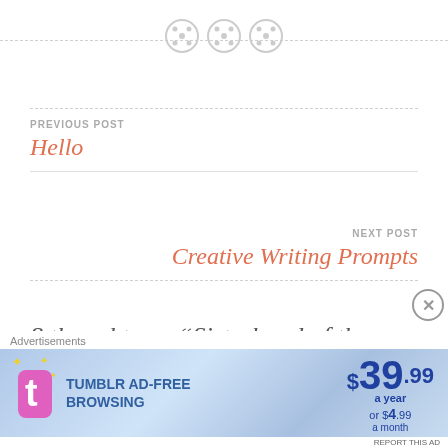[Figure (illustration): Three decorative button icons arranged horizontally on a dashed line divider]
PREVIOUS POST
Hello
NEXT POST
Creative Writing Prompts
8 thoughts on “Sisterhood of the World Bloggers Award”
[Figure (screenshot): Tumblr ad-free browsing advertisement banner showing $39.99 a year or $4.99 a month]
Advertisements